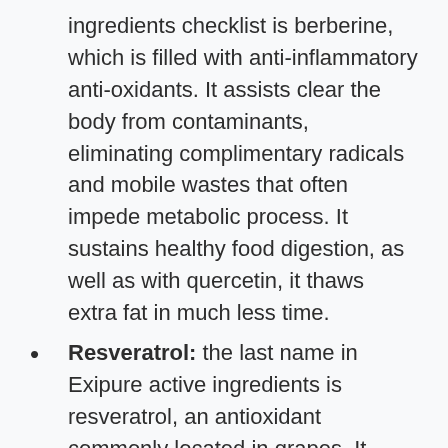ingredients checklist is berberine, which is filled with anti-inflammatory anti-oxidants. It assists clear the body from contaminants, eliminating complimentary radicals and mobile wastes that often impede metabolic process. It sustains healthy food digestion, as well as with quercetin, it thaws extra fat in much less time.
Resveratrol: the last name in Exipure active ingredients is resveratrol, an antioxidant commonly located in grapes. It provides a variety of wellness advantages, one of which is to lower cholesterol degrees, stop plaque development, and also clear contaminants. All these active ingredients are obtained from pure high quality resources, and nothing amongst them can create any negative effects